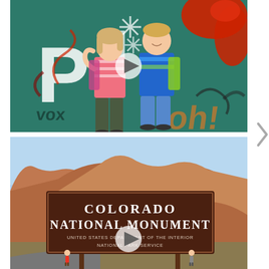[Figure (photo): Two children (a girl and a boy) standing in front of a green wall covered in colorful graffiti. The girl is on the left wearing a pink striped shirt and dark pants with a backpack. The boy is on the right wearing a blue striped shirt and denim shorts with a backpack. A white play button overlay is centered on the image.]
[Figure (photo): Colorado National Monument entrance sign (dark brown with white text reading 'COLORADO NATIONAL MONUMENT / UNITED STATES DEPARTMENT OF THE INTERIOR / NATIONAL PARK SERVICE') with red rock canyon formations in the background. Two small figures are visible near the sign. A white play button overlay is centered on the image.]